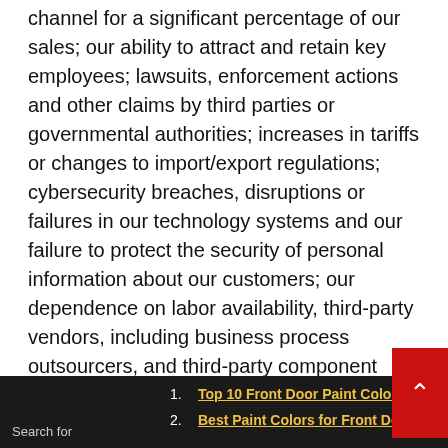channel for a significant percentage of our sales; our ability to attract and retain key employees; lawsuits, enforcement actions and other claims by third parties or governmental authorities; increases in tariffs or changes to import/export regulations; cybersecurity breaches, disruptions or failures in our technology systems and our failure to protect the security of personal information about our customers; our dependence on labor availability, third-party vendors, including business process outsourcers, and third-party component suppliers; our ability to protect our intellectual property and other material proprietary rights; special risks applicable to operations outside the United States by us or our business process outsource providers;
Search for
1. Top 10 Front Door Paint Colors
2. Best Paint Colors for Front Door